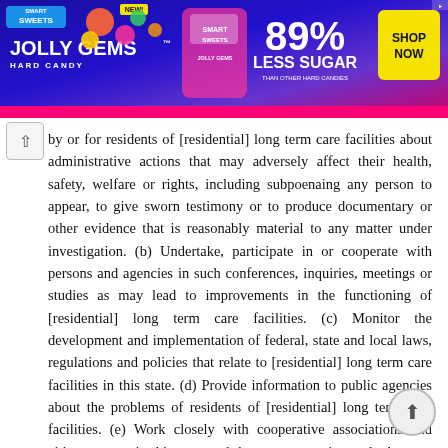[Figure (screenshot): SmartSweets Jolly Gems Hard Candy advertisement banner. Purple/blue gradient background with pink stripe at bottom. Left: SmartSweets logo, 'NEW!' badge, 'JOLLY GEMS' in large white text, 'HARD CANDY' subtitle, candy imagery. Center: product bag image. Right: '89% LESS SUGAR THAN OTHER HARD CANDIES' text and yellow 'SHOP NOW' button.]
by or for residents of [residential] long term care facilities about administrative actions that may adversely affect their health, safety, welfare or rights, including subpoenaing any person to appear, to give sworn testimony or to produce documentary or other evidence that is reasonably material to any matter under investigation. (b) Undertake, participate in or cooperate with persons and agencies in such conferences, inquiries, meetings or studies as may lead to improvements in the functioning of [residential] long term care facilities. (c) Monitor the development and implementation of federal, state and local laws, regulations and policies that relate to [residential] long term care facilities in this state. (d) Provide information to public agencies about the problems of residents of [residential] long term care facilities. (e) Work closely with cooperative associations and citizen groups in this state and the state protection and advocacy system under ORS (f) Widely publicize the Long Term Care Ombudsman s [service] services, purpose and mode of operation. (g) Collaborate with the Oregon Health